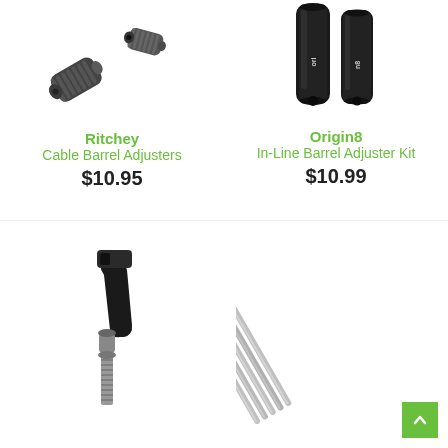[Figure (photo): Ritchey Cable Barrel Adjusters product photo - two black cylindrical cable adjusters]
[Figure (photo): Origin8 In-Line Barrel Adjuster Kit product photo - two tall black cylindrical barrel adjusters with Origin8 branding]
Ritchey
Cable Barrel Adjusters
$10.95
Origin8
In-Line Barrel Adjuster Kit
$10.99
[Figure (photo): A black bicycle cable tension adjuster/barrel adjuster with threaded body and hardware]
[Figure (photo): Several silver/chrome cable inner wires fanned out]